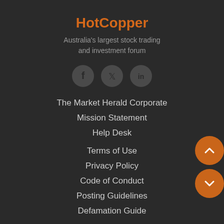HotCopper
Australia's largest stock trading and investment forum
[Figure (other): Three social media icon buttons: Facebook, Twitter, LinkedIn — circular dark grey buttons]
The Market Herald Corporate
Mission Statement
Help Desk
Terms of Use
Privacy Policy
Code of Conduct
Posting Guidelines
Defamation Guide